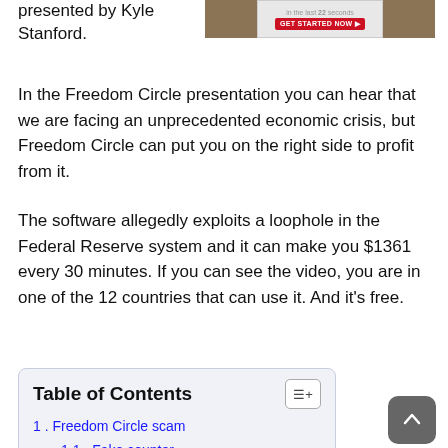presented by Kyle Stanford.
[Figure (screenshot): Screenshot of a website banner with a red 'GET STARTED NOW' button and outdoor/nature images on left and right sides]
In the Freedom Circle presentation you can hear that we are facing an unprecedented economic crisis, but Freedom Circle can put you on the right side to profit from it.
The software allegedly exploits a loophole in the Federal Reserve system and it can make you $1361 every 30 minutes. If you can see the video, you are in one of the 12 countries that can use it. And it’s free.
| 1. Freedom Circle scam |
| 1.1. Fake counter |
| 1.2. Testimonials |
| 1.3. Freedom Circle software |
| 1.4. The truth |
| 2. Conclusion |